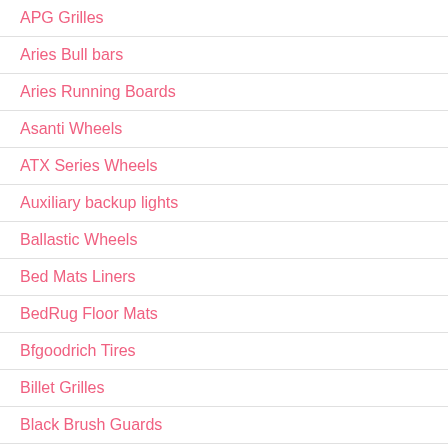APG Grilles
Aries Bull bars
Aries Running Boards
Asanti Wheels
ATX Series Wheels
Auxiliary backup lights
Ballastic Wheels
Bed Mats Liners
BedRug Floor Mats
Bfgoodrich Tires
Billet Grilles
Black Brush Guards